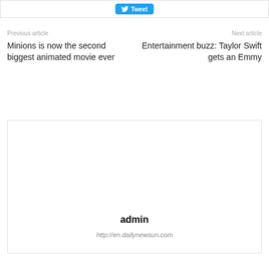[Figure (screenshot): Tweet button at top of page]
Previous article
Next article
Minions is now the second biggest animated movie ever
Entertainment buzz: Taylor Swift gets an Emmy
admin
http://en.dailynewsun.com